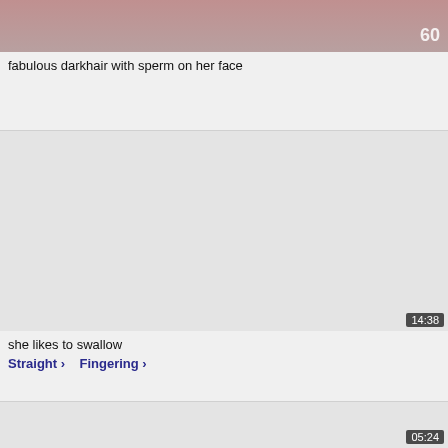[Figure (screenshot): Top portion of a video thumbnail showing partial image, with text overlay '60' and logo partially visible]
fabulous darkhair with sperm on her face
[Figure (screenshot): Second video thumbnail area, grey/blank, with duration badge 14:38 in top right corner]
she likes to swallow
Straight > Fingering >
[Figure (screenshot): Third video thumbnail area, grey/blank, with duration badge 05:24 in top right corner]